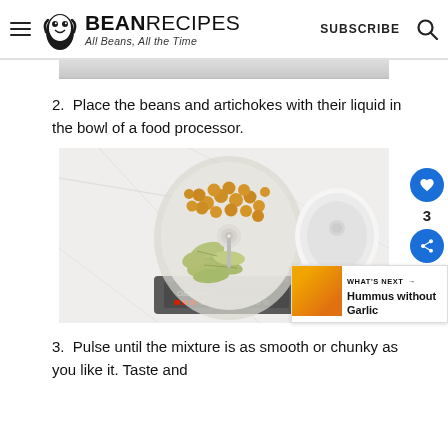BEAN RECIPES — All Beans, All the Time | SUBSCRIBE
[Figure (photo): Partial view of a food photo at top of page (cropped)]
2. Place the beans and artichokes with their liquid in the bowl of a food processor.
[Figure (photo): Overhead photo of a food processor bowl containing chickpeas and artichoke pieces, with the processor base visible, on a marble surface. A white lid/bowl is to the right.]
3. Pulse until the mixture is as smooth or chunky as you like it. Taste and